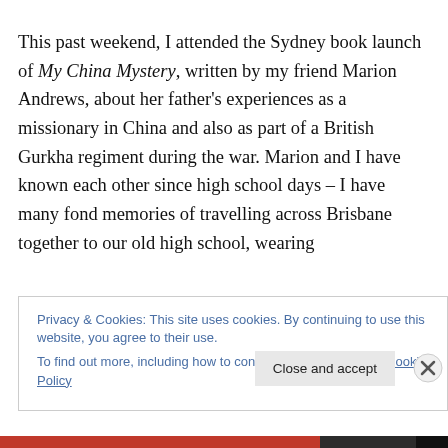This past weekend, I attended the Sydney book launch of My China Mystery, written by my friend Marion Andrews, about her father's experiences as a missionary in China and also as part of a British Gurkha regiment during the war. Marion and I have known each other since high school days – I have many fond memories of travelling across Brisbane together to our old high school, wearing
Privacy & Cookies: This site uses cookies. By continuing to use this website, you agree to their use.
To find out more, including how to control cookies, see here: Cookie Policy
Close and accept